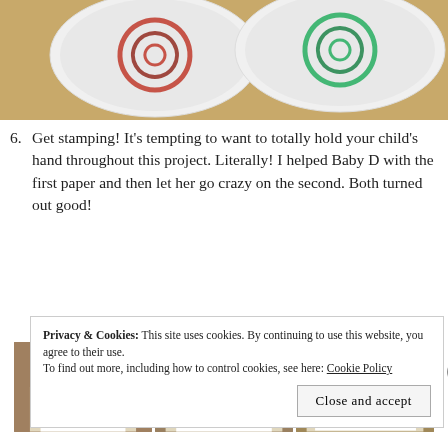[Figure (photo): Two white plates with spiral paint patterns on a wooden surface — one with red/dark spiral, one with green spiral]
Get stamping! It's tempting to want to totally hold your child's hand throughout this project. Literally! I helped Baby D with the first paper and then let her go crazy on the second. Both turned out good!
[Figure (photo): Three photos showing a child stamping an apple dipped in red paint onto white paper laid on newspaper]
Privacy & Cookies: This site uses cookies. By continuing to use this website, you agree to their use.
To find out more, including how to control cookies, see here: Cookie Policy
Close and accept